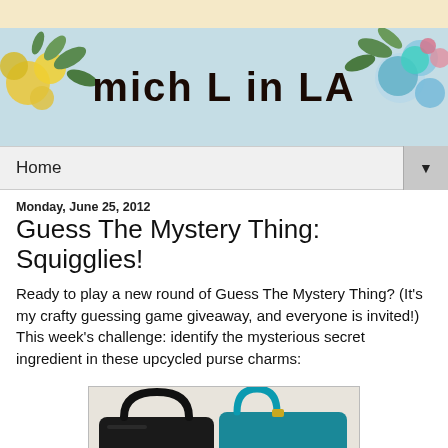[Figure (photo): Blog header banner for 'Mich L in LA' with decorative flowers and colorful buttons on a light blue background]
Home ▼
Monday, June 25, 2012
Guess The Mystery Thing: Squigglies!
Ready to play a new round of Guess The Mystery Thing? (It's my crafty guessing game giveaway, and everyone is invited!)  This week's challenge: identify the mysterious secret ingredient in these upcycled purse charms:
[Figure (photo): Two purses with charms attached - a black leather purse and a teal/turquoise purse with handles visible]